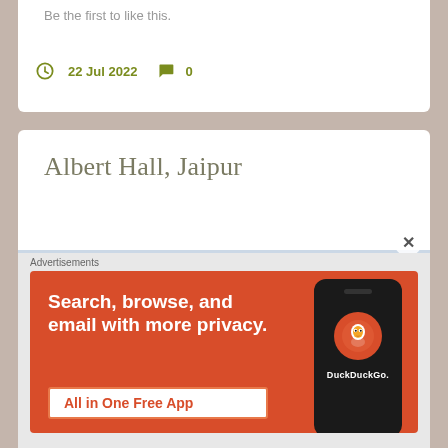Be the first to like this.
22 Jul 2022   0
Albert Hall, Jaipur
[Figure (photo): Photo of Albert Hall Jaipur dome architecture against cloudy sky]
Advertisements
[Figure (screenshot): DuckDuckGo advertisement banner: Search, browse, and email with more privacy. All in One Free App. Shows DuckDuckGo app on phone.]